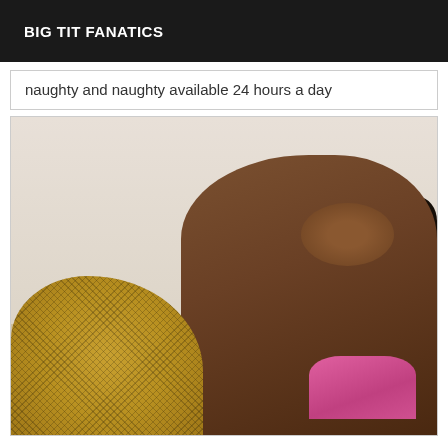BIG TIT FANATICS
naughty and naughty available 24 hours a day
[Figure (photo): A woman with long dark hair wearing a pink top and fishnet stockings, posed against a light background.]